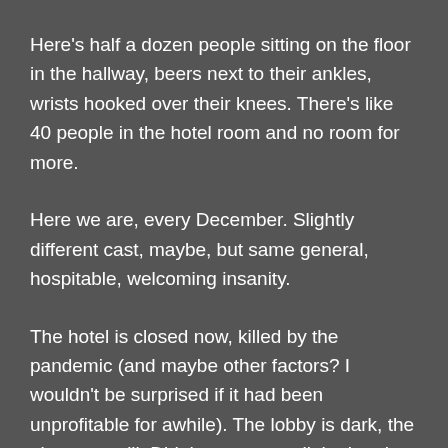Here's half a dozen people sitting on the floor in the hallway, beers next to their ankles, wrists hooked over their knees. There's like 40 people in the hotel room and no room for more.
Here we are, every December. Slightly different cast, maybe, but same general, hospitable, welcoming insanity.
The hotel is closed now, killed by the pandemic (and maybe other factors? I wouldn't be surprised if it had been unprofitable for awhile). The lobby is dark, the elevators still. Did the owners sell the hotel furniture, try to even out their losses? Are the tourist pamphlets about the duck boats and Freedom Trail still in the empty lobby? Did a homeless guy jimmy his way into